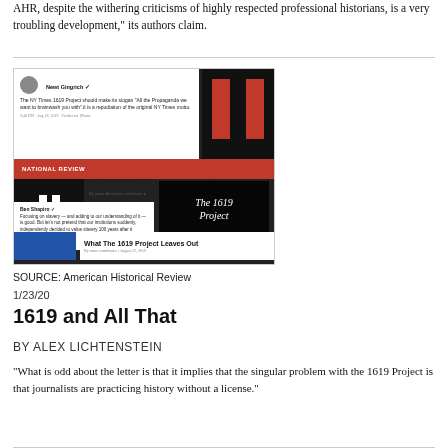AHR, despite the withering criticisms of highly respected professional historians, is a very troubling development," its authors claim.
[Figure (screenshot): Screenshot collage showing tweets and articles about the 1619 Project, including a National Review article titled 'The 1619 Project's Potted History' and 'What The 1619 Project Leaves Out', overlaid with a dark box reading 'The 1619 Project']
SOURCE: American Historical Review
1/23/20
1619 and All That
BY ALEX LICHTENSTEIN
"What is odd about the letter is that it implies that the singular problem with the 1619 Project is that journalists are practicing history without a license."